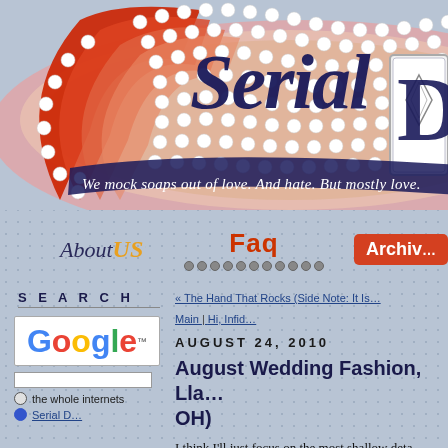[Figure (logo): Serial Drama website banner logo with decorative marquee lights, floral patterns, red and navy colors, and subtitle 'We mock soaps out of love. And hate. But mostly love.']
[Figure (infographic): Navigation bar with About US, Faq (with dots below), and Archive buttons]
SEARCH
[Figure (logo): Google logo in multicolor]
the whole internets
« The Hand That Rocks (Side Note: It Is...
Main | Hi, Infid...
AUGUST 24, 2010
August Wedding Fashion, Lla... OH)
I think I'll just focus on the most shallow deta...